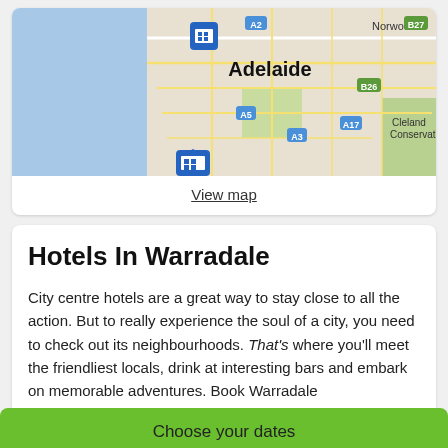[Figure (map): Street map showing Adelaide city area including Norwood, Cleland Conservation, with hotel/accommodation markers and road labels (A2, A3, A5, A17, B27, B26)]
View map
Hotels In Warradale
City centre hotels are a great way to stay close to all the action. But to really experience the soul of a city, you need to check out its neighbourhoods. That's where you'll meet the friendliest locals, drink at interesting bars and embark on memorable adventures. Book Warradale accommodation through Wotif and get access to the sights, attractions, arts, culture and nightlife the locals love, all wrapped up in the neighbourhood's distinct personality.
Sleep, eat and play the way the locals do in a hotel that reflects the neighbourhood's flavour. All of our cheap Warradale
Choose your dates